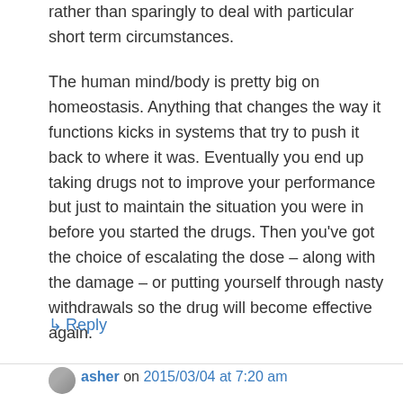rather than sparingly to deal with particular short term circumstances.
The human mind/body is pretty big on homeostasis. Anything that changes the way it functions kicks in systems that try to push it back to where it was. Eventually you end up taking drugs not to improve your performance but just to maintain the situation you were in before you started the drugs. Then you've got the choice of escalating the dose – along with the damage – or putting yourself through nasty withdrawals so the drug will become effective again.
↳ Reply
asher on 2015/03/04 at 7:20 am